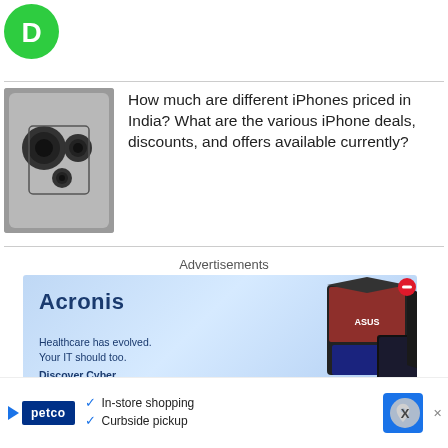[Figure (logo): Green circular badge logo with letter D]
How much are different iPhones priced in India? What are the various iPhone deals, discounts, and offers available currently?
[Figure (photo): Close-up of iPhone camera module]
Advertisements
[Figure (other): Acronis advertisement banner with text 'Healthcare has evolved. Your IT should too. Discover Cyber Protection' alongside product box imagery]
[Figure (other): Petco advertisement banner showing In-store shopping and Curbside pickup options]